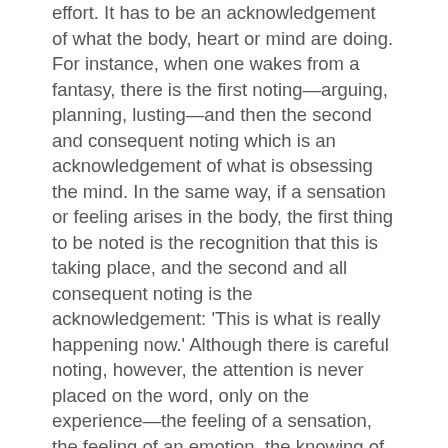effort. It has to be an acknowledgement of what the body, heart or mind are doing. For instance, when one wakes from a fantasy, there is the first noting—arguing, planning, lusting—and then the second and consequent noting which is an acknowledgement of what is obsessing the mind. In the same way, if a sensation or feeling arises in the body, the first thing to be noted is the recognition that this is taking place, and the second and all consequent noting is the acknowledgement: 'This is what is really happening now.' Although there is careful noting, however, the attention is never placed on the word, only on the experience—the feeling of a sensation, the feeling of an emotion, the knowing of a thought. It is as though the intuitive intelligence sees through the word and experiences the presenting object directly. In this way the intellectual faculty is brought into the service of that intuitive intelligence rather than intuitive intelligence being fogged by conceptual thinking.